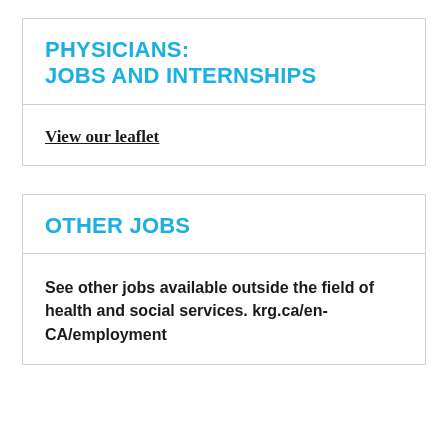PHYSICIANS: JOBS AND INTERNSHIPS
View our leaflet
OTHER JOBS
See other jobs available outside the field of health and social services. krg.ca/en-CA/employment